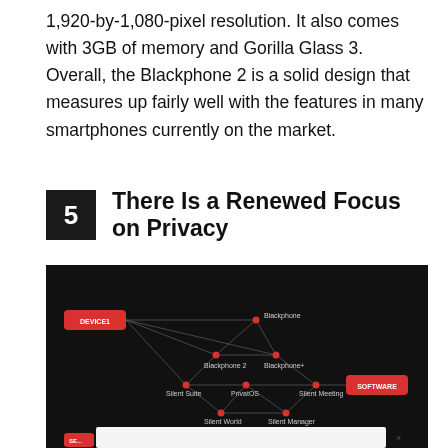1,920-by-1,080-pixel resolution. It also comes with 3GB of memory and Gorilla Glass 3. Overall, the Blackphone 2 is a solid design that measures up fairly well with the features in many smartphones currently on the market.
5  There Is a Renewed Focus on Privacy
[Figure (network-graph): A network/relationship diagram on a dark background showing connections between hardware and software nodes. Left node labeled 'DEVICE1' (red pill), right node labeled 'SOFTWARE' (red pill). Connected nodes include: Blackphone, Blackphone 2, Blackphone+, Silent Suite, PrivatOS, Silent Meeting, Silent World, Silent Manager. Lines connect the nodes in a web-like pattern. A popup/modal with an X close button is partially visible at the bottom.]